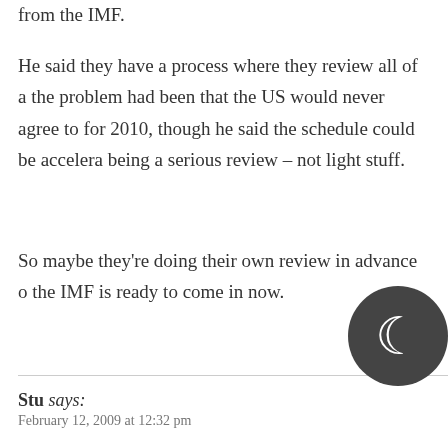from the IMF.
He said they have a process where they review all of a the problem had been that the US would never agree to for 2010, though he said the schedule could be accelera being a serious review – not light stuff.
So maybe they're doing their own review in advance o the IMF is ready to come in now.
Stu says:
February 12, 2009 at 12:32 pm
Come on ChiFi. First time I've gambled this year (outs friends last weekend) and I'm mostly playing with thei account this year anyhow as the perks are g ut q oer the place as well. Keep in mind. I've bo vo lo am not. But I am willing to admit that in my lifetime, I